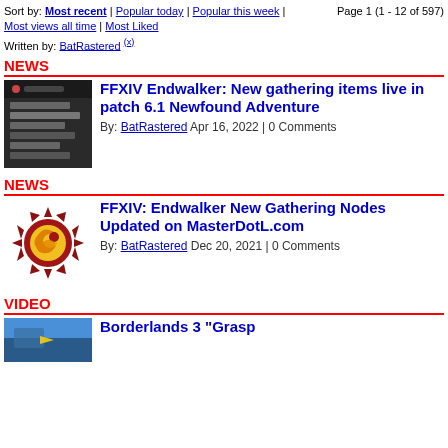Sort by: Most recent | Popular today | Popular this week | Most views all time | Most Liked   Page 1 (1 - 12 of 597)
Written by: BatRastered (x)
NEWS
[Figure (screenshot): Dark-themed screenshot of a game interface panel or menu listing]
FFXIV Endwalker: New gathering items live in patch 6.1 Newfound Adventure
By: BatRastered Apr 16, 2022 | 0 Comments
NEWS
[Figure (logo): FFXIV / MasterDotL.com logo: dark red spiky gear shape with yellow crescent/flame symbol inside]
FFXIV: Endwalker New Gathering Nodes Updated on MasterDotL.com
By: BatRastered Dec 20, 2021 | 0 Comments
VIDEO
[Figure (screenshot): Borderlands 3 video thumbnail, blue/teal game scene]